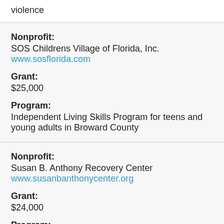violence
Nonprofit: SOS Childrens Village of Florida, Inc.
www.sosflorida.com
Grant: $25,000
Program: Independent Living Skills Program for teens and young adults in Broward County
Nonprofit: Susan B. Anthony Recovery Center
www.susanbanthonycenter.org
Grant: $24,000
Program: